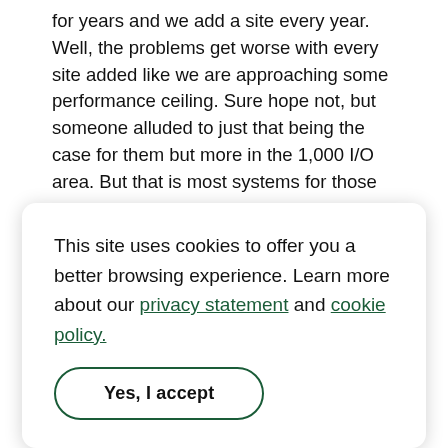for years and we add a site every year. Well, the problems get worse with every site added like we are approaching some performance ceiling. Sure hope not, but someone alluded to just that being the case for them but more in the 1,000 I/O area. But that is most systems for those guys.

Having a hard time wrapping my head around why after a re-install the system would work flawlessly for 30 or more hours and then seem to start struggling
This site uses cookies to offer you a better browsing experience. Learn more about our privacy statement and cookie policy.

Yes, I accept